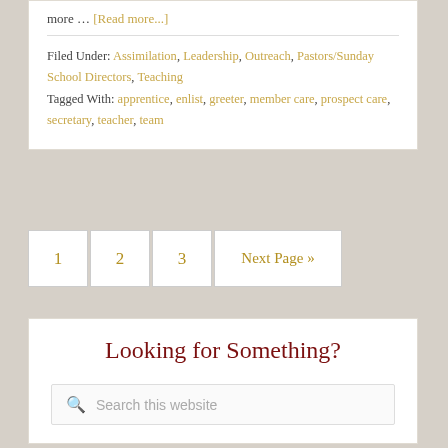more … [Read more...]
Filed Under: Assimilation, Leadership, Outreach, Pastors/Sunday School Directors, Teaching
Tagged With: apprentice, enlist, greeter, member care, prospect care, secretary, teacher, team
1
2
3
Next Page »
Looking for Something?
Search this website